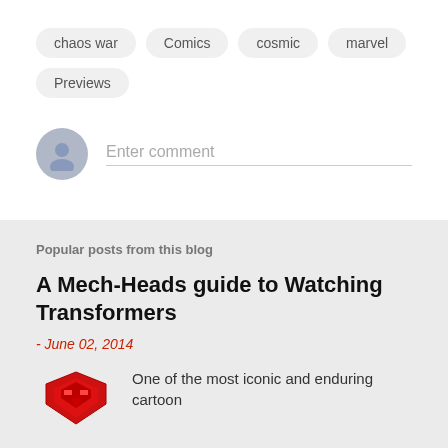chaos war
Comics
cosmic
marvel
Previews
Enter comment
Popular posts from this blog
A Mech-Heads guide to Watching Transformers
- June 02, 2014
One of the most iconic and enduring cartoon